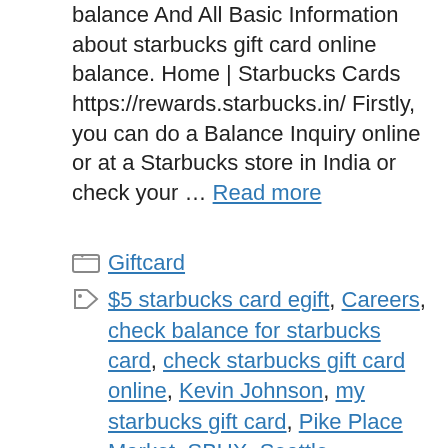balance And All Basic Information about starbucks gift card online balance. Home | Starbucks Cards https://rewards.starbucks.in/ Firstly, you can do a Balance Inquiry online or at a Starbucks store in India or check your … Read more
Giftcard
$5 starbucks card egift, Careers, check balance for starbucks card, check starbucks gift card online, Kevin Johnson, my starbucks gift card, Pike Place Market, SBUX, Seattle, starbucks account balance, starbucks check my card, starbucks egift card canada, Starbucks gift card balance check, United States, WA, What Are The Signs of Starbucks …